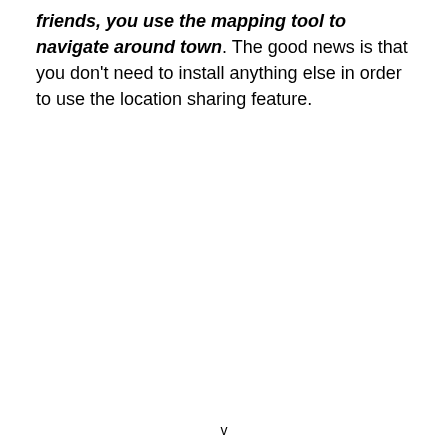friends, you use the mapping tool to navigate around town. The good news is that you don't need to install anything else in order to use the location sharing feature.
v